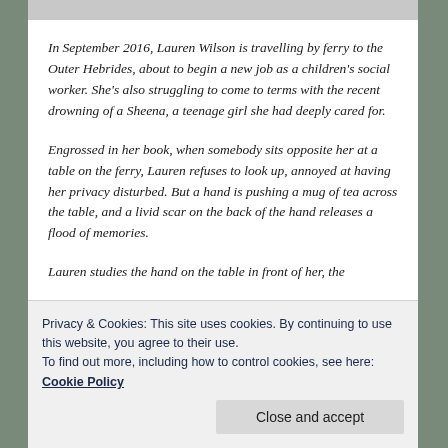In September 2016, Lauren Wilson is travelling by ferry to the Outer Hebrides, about to begin a new job as a children's social worker. She's also struggling to come to terms with the recent drowning of a Sheena, a teenage girl she had deeply cared for.
Engrossed in her book, when somebody sits opposite her at a table on the ferry, Lauren refuses to look up, annoyed at having her privacy disturbed. But a hand is pushing a mug of tea across the table, and a livid scar on the back of the hand releases a flood of memories.
Lauren studies the hand on the table in front of her, the
Privacy & Cookies: This site uses cookies. By continuing to use this website, you agree to their use.
To find out more, including how to control cookies, see here: Cookie Policy